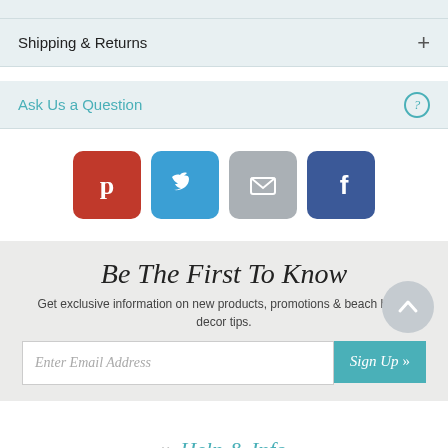Shipping & Returns
Ask Us a Question
[Figure (infographic): Row of four social share buttons: Pinterest (red), Twitter (blue), Email (gray), Facebook (dark blue)]
Be The First To Know
Get exclusive information on new products, promotions & beach home decor tips.
Enter Email Address  Sign Up »
Help & Info